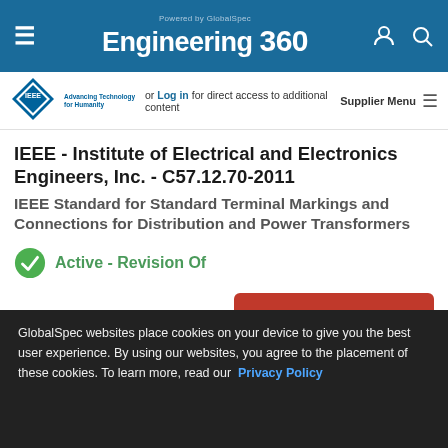Engineering 360 - Powered by GlobalSpec
[Figure (logo): IEEE logo - Advancing Technology for Humanity diamond logo]
or Log in for direct access to additional content  Supplier Menu
IEEE - Institute of Electrical and Electronics Engineers, Inc. - C57.12.70-2011
IEEE Standard for Standard Terminal Markings and Connections for Distribution and Power Transformers
Active - Revision Of
BUY NOW
GlobalSpec websites place cookies on your device to give you the best user experience. By using our websites, you agree to the placement of these cookies. To learn more, read our Privacy Policy